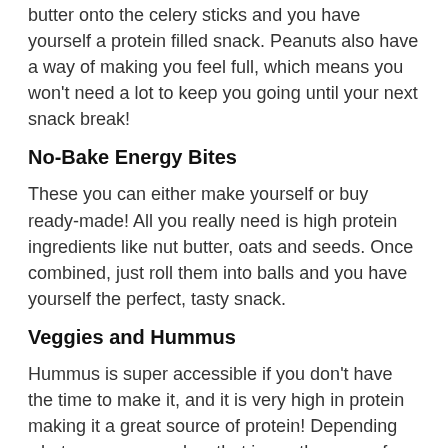butter onto the celery sticks and you have yourself a protein filled snack. Peanuts also have a way of making you feel full, which means you won't need a lot to keep you going until your next snack break!
No-Bake Energy Bites
These you can either make yourself or buy ready-made! All you really need is high protein ingredients like nut butter, oats and seeds. Once combined, just roll them into balls and you have yourself the perfect, tasty snack.
Veggies and Hummus
Hummus is super accessible if you don't have the time to make it, and it is very high in protein making it a great source of protein! Depending what veg you use also, that is another way of